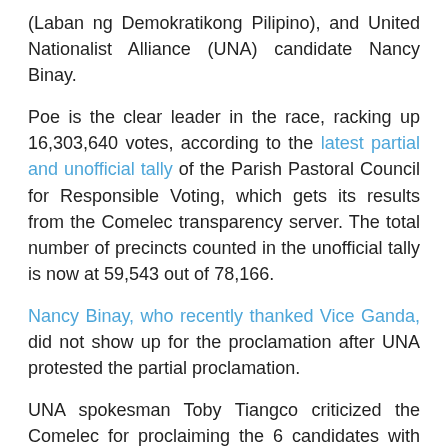(Laban ng Demokratikong Pilipino), and United Nationalist Alliance (UNA) candidate Nancy Binay.
Poe is the clear leader in the race, racking up 16,303,640 votes, according to the latest partial and unofficial tally of the Parish Pastoral Council for Responsible Voting, which gets its results from the Comelec transparency server. The total number of precincts counted in the unofficial tally is now at 59,543 out of 78,166.
Nancy Binay, who recently thanked Vice Ganda, did not show up for the proclamation after UNA protested the partial proclamation.
UNA spokesman Toby Tiangco criticized the Comelec for proclaiming the 6 candidates with only 72 out of 304 certificates of canvass (COCs) totaling 13,384,981 voters or 22% of COCs canvassed. Tiangco said Comelec should proclaim all the winners.
"Why the hurry? 22% is not even half (of the COCs)," he